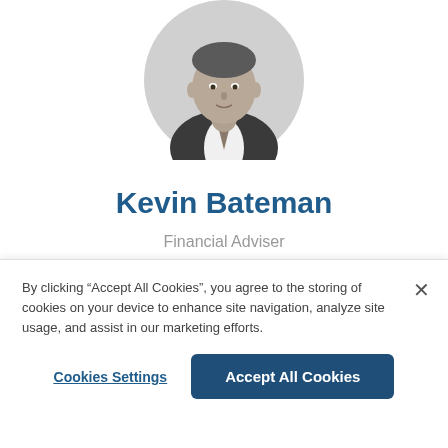[Figure (photo): Circular cropped black and white portrait photo of Kevin Bateman, a man in a suit and tie]
Kevin Bateman
Financial Adviser
BSc, MSc
M: 021 197 5045
kevin.bateman@lifetime.co.nz
By clicking “Accept All Cookies”, you agree to the storing of cookies on your device to enhance site navigation, analyze site usage, and assist in our marketing efforts.
Cookies Settings
Accept All Cookies